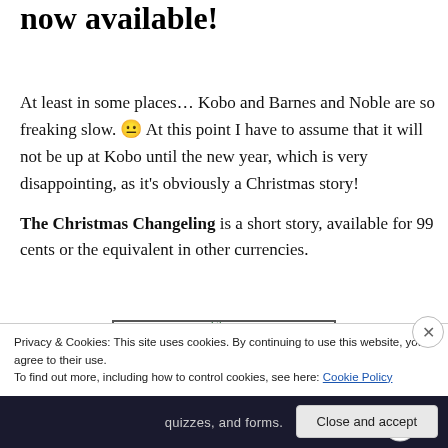now available!
At least in some places… Kobo and Barnes and Noble are so freaking slow. 😐 At this point I have to assume that it will not be up at Kobo until the new year, which is very disappointing, as it's obviously a Christmas story!
The Christmas Changeling is a short story, available for 99 cents or the equivalent in other currencies.
[Figure (logo): Clare K.R. MILLER logo in dark green with border]
Privacy & Cookies: This site uses cookies. By continuing to use this website, you agree to their use.
To find out more, including how to control cookies, see here: Cookie Policy
quizzes, and forms.